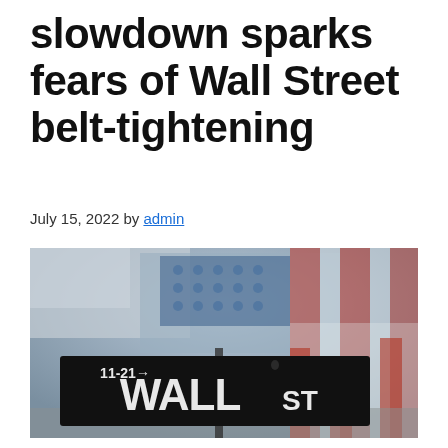slowdown sparks fears of Wall Street belt-tightening
July 15, 2022 by admin
[Figure (photo): Wall Street street sign on a black post with an American flag blurred in the background. The sign reads '11-21→ WALL ST'.]